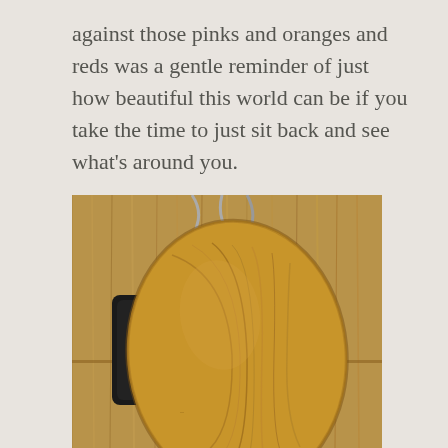against those pinks and oranges and reds was a gentle reminder of just how beautiful this world can be if you take the time to just sit back and see what’s around you.
[Figure (photo): A photograph showing a round oval wooden cutting board or table top leaning against a wood-paneled wall. The wood paneling has visible grain patterns. A black object is partially visible behind the wooden oval piece. Some cables or hooks are visible at the top of the image.]